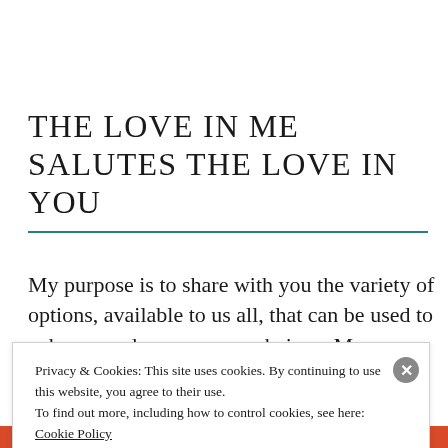THE LOVE IN ME SALUTES THE LOVE IN YOU
My purpose is to share with you the variety of options, available to us all, that can be used to enhance and empower our beings. My
Privacy & Cookies: This site uses cookies. By continuing to use this website, you agree to their use.
To find out more, including how to control cookies, see here:
Cookie Policy
Close and accept